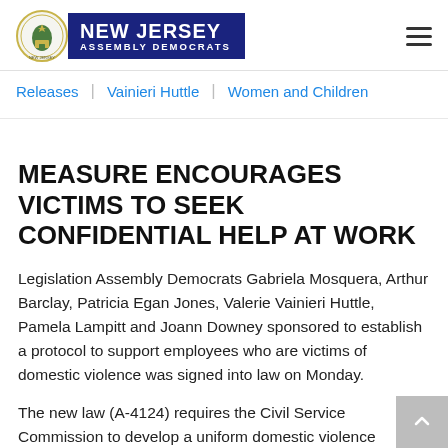NEW JERSEY ASSEMBLY DEMOCRATS
Releases | Vainieri Huttle | Women and Children
MEASURE ENCOURAGES VICTIMS TO SEEK CONFIDENTIAL HELP AT WORK
Legislation Assembly Democrats Gabriela Mosquera, Arthur Barclay, Patricia Egan Jones, Valerie Vainieri Huttle, Pamela Lampitt and Joann Downey sponsored to establish a protocol to support employees who are victims of domestic violence was signed into law on Monday.
The new law (A-4124) requires the Civil Service Commission to develop a uniform domestic violence